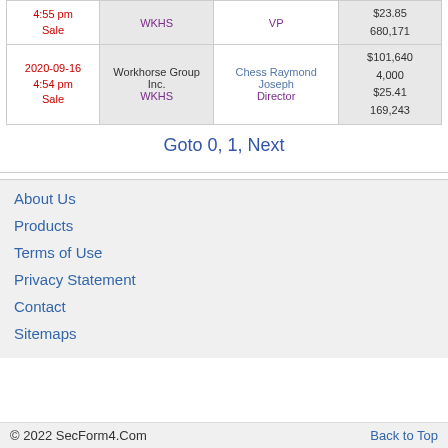| Date/Type | Company | Person/Role | Values |
| --- | --- | --- | --- |
| 4:55 pm
Sale | WKHS | VP | $23.85
680,171 |
| 2020-09-16
4:54 pm
Sale | Workhorse Group Inc.
WKHS | Chess Raymond Joseph
Director | $101,640
4,000
$25.41
169,243 |
Goto 0, 1, Next
About Us
Products
Terms of Use
Privacy Statement
Contact
Sitemaps
© 2022 SecForm4.Com    Back to Top